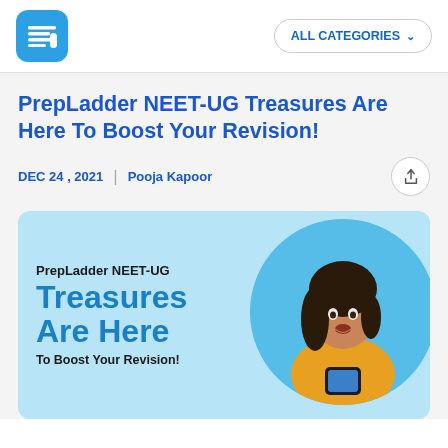ALL CATEGORIES
PrepLadder NEET-UG Treasures Are Here To Boost Your Revision!
DEC 24 , 2021 | Pooja Kapoor
[Figure (illustration): Promotional banner for PrepLadder NEET-UG with text 'PrepLadder NEET-UG Treasures Are Here To Boost Your Revision!' and a young woman in a yellow top looking at a phone, displayed in a circular crop on a light blue background.]